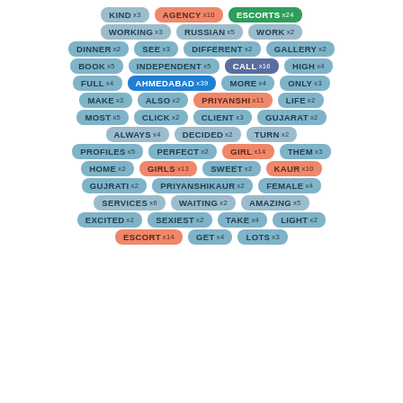[Figure (infographic): Word cloud / tag cloud showing keywords with frequency counts. Tags are colored: steel blue (most), salmon/orange (high frequency named entities), green (ESCORTS x24), blue (AHMEDABAD x39), dark navy (CALL x16). Each tag shows the word in uppercase and its count prefixed with x.]